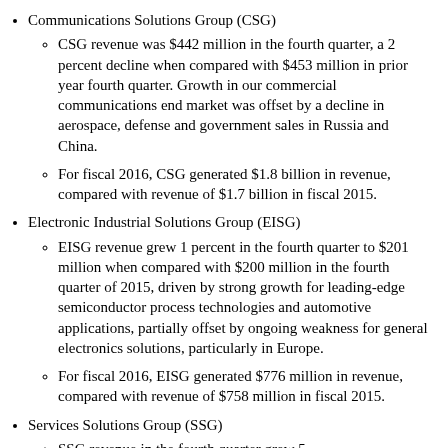Communications Solutions Group (CSG)
CSG revenue was $442 million in the fourth quarter, a 2 percent decline when compared with $453 million in prior year fourth quarter. Growth in our commercial communications end market was offset by a decline in aerospace, defense and government sales in Russia and China.
For fiscal 2016, CSG generated $1.8 billion in revenue, compared with revenue of $1.7 billion in fiscal 2015.
Electronic Industrial Solutions Group (EISG)
EISG revenue grew 1 percent in the fourth quarter to $201 million when compared with $200 million in the fourth quarter of 2015, driven by strong growth for leading-edge semiconductor process technologies and automotive applications, partially offset by ongoing weakness for general electronics solutions, particularly in Europe.
For fiscal 2016, EISG generated $776 million in revenue, compared with revenue of $758 million in fiscal 2015.
Services Solutions Group (SSG)
SSG revenue in the fourth quarter grew 5